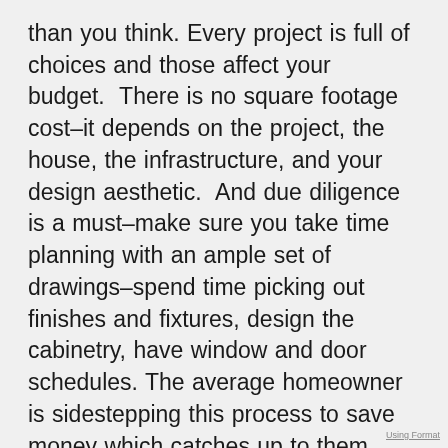than you think. Every project is full of choices and those affect your budget. There is no square footage cost–it depends on the project, the house, the infrastructure, and your design aesthetic. And due diligence is a must–make sure you take time planning with an ample set of drawings–spend time picking out finishes and fixtures, design the cabinetry, have window and door schedules. The average homeowner is sidestepping this process to save money which catches up to them during the construction process when they can see up to three times that cost in delays or coordination.
Using Format